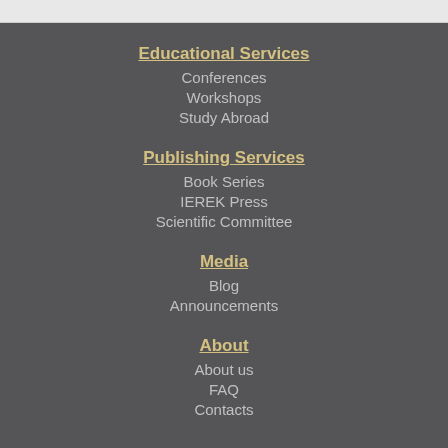Educational Services
Conferences
Workshops
Study Abroad
Publishing Services
Book Series
IEREK Press
Scientific Committee
Media
Blog
Announcements
About
About us
FAQ
Contacts